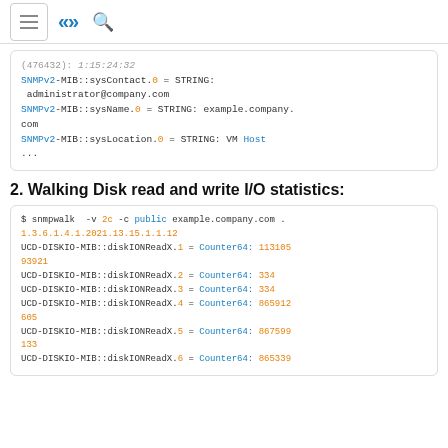Navigation header with menu icon, logo, and search icon
(476432): 1:15:24:32
SNMPv2-MIB::sysContact.0 = STRING: administrator@company.com
SNMPv2-MIB::sysName.0 = STRING: example.company.com
SNMPv2-MIB::sysLocation.0 = STRING: VM Host
...
2. Walking Disk read and write I/O statistics:
$ snmpwalk  -v 2c -c public example.company.com .1.3.6.1.4.1.2021.13.15.1.1.12
UCD-DISKIO-MIB::diskIONReadX.1 = Counter64: 11310593921
UCD-DISKIO-MIB::diskIONReadX.2 = Counter64: 334
UCD-DISKIO-MIB::diskIONReadX.3 = Counter64: 334
UCD-DISKIO-MIB::diskIONReadX.4 = Counter64: 865912605
UCD-DISKIO-MIB::diskIONReadX.5 = Counter64: 867599133
UCD-DISKIO-MIB::diskIONReadX.6 = Counter64: 865339